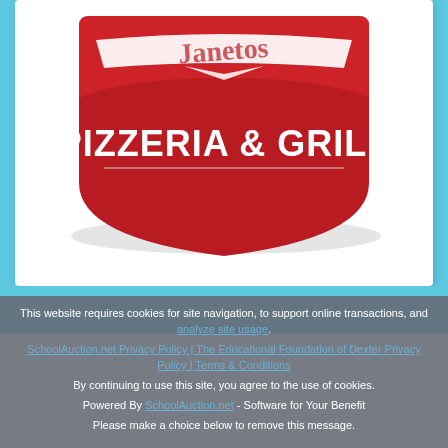[Figure (logo): Red shield-shaped Pizzeria & Grill logo with white cursive text at top (partially cut off) and bold white 'PIZZERIA & GRILL' text in the center]
EFD Spring Online Auction
They Give. You Give. We Give.
This website requires cookies for site navigation, to support online transactions, and analyze site usage. By continuing to use this site, you agree to the use of cookies. Please make a choice below to remove this message.
SchoolAuction.net Privacy Policy | The Educational Foundation of Dexter Privacy Policy | Terms & Conditions
Powered By SchoolAuction.net - Software for Your Benefit